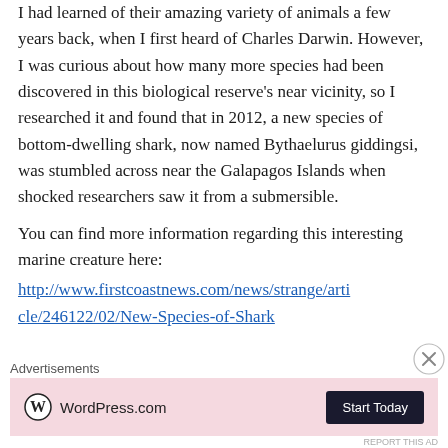I had learned of their amazing variety of animals a few years back, when I first heard of Charles Darwin. However, I was curious about how many more species had been discovered in this biological reserve's near vicinity, so I researched it and found that in 2012, a new species of bottom-dwelling shark, now named Bythaelurus giddingsi, was stumbled across near the Galapagos Islands when shocked researchers saw it from a submersible.
You can find more information regarding this interesting marine creature here:
http://www.firstcoastnews.com/news/strange/article/246122/02/New-Species-of-Shark
Advertisements
[Figure (other): WordPress.com advertisement banner with logo and 'Start Today' button on pink background]